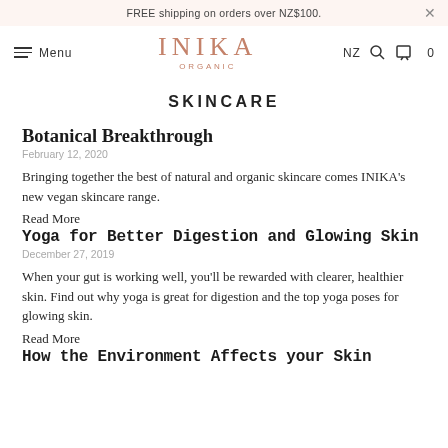FREE shipping on orders over NZ$100.
SKINCARE
Botanical Breakthrough
February 12, 2020
Bringing together the best of natural and organic skincare comes INIKA's new vegan skincare range.
Read More
Yoga for Better Digestion and Glowing Skin
December 27, 2019
When your gut is working well, you'll be rewarded with clearer, healthier skin. Find out why yoga is great for digestion and the top yoga poses for glowing skin.
Read More
How the Environment Affects your Skin